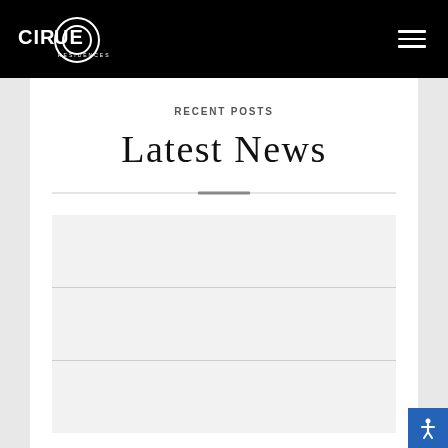Cirque Residences — navigation header with logo and hamburger menu
RECENT POSTS
Latest News
[Figure (other): Decorative horizontal divider with centered accent bar]
[Figure (other): Placeholder post content block 1]
[Figure (other): Placeholder post content block 2]
[Figure (other): Placeholder post content block 3]